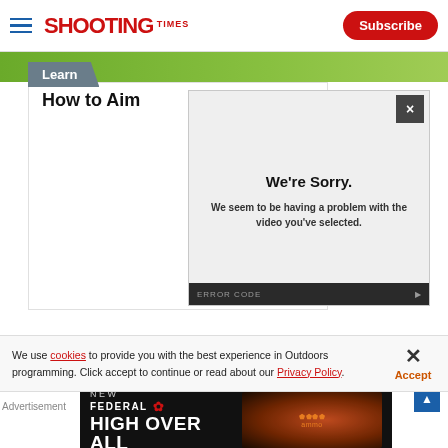Shooting Times — Subscribe
[Figure (screenshot): Green outdoor background strip]
Learn
How to Aim
[Figure (screenshot): Video error modal: We're Sorry. We seem to be having a problem with the video you've selected. ERROR CODE]
We're Sorry.
We seem to be having a problem with the video you've selected.
We use cookies to provide you with the best experience in Outdoors programming. Click accept to continue or read about our Privacy Policy.
Advertisement
[Figure (other): Federal High Over All advertisement banner]